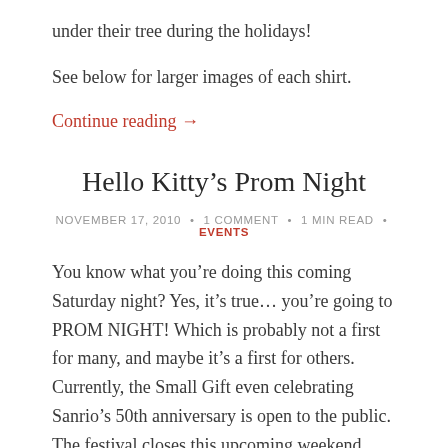under their tree during the holidays!
See below for larger images of each shirt.
Continue reading →
Hello Kitty's Prom Night
NOVEMBER 17, 2010 • 1 COMMENT • 1 MIN READ • EVENTS
You know what you're doing this coming Saturday night? Yes, it's true… you're going to PROM NIGHT! Which is probably not a first for many, and maybe it's a first for others. Currently, the Small Gift even celebrating Sanrio's 50th anniversary is open to the public. The festival closes this upcoming weekend, and Bubble Punch